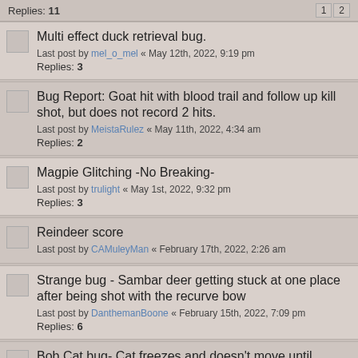Replies: 11   1 2
Multi effect duck retrieval bug.
Last post by mel_o_mel « May 12th, 2022, 9:19 pm
Replies: 3
Bug Report: Goat hit with blood trail and follow up kill shot, but does not record 2 hits.
Last post by MeistaRulez « May 11th, 2022, 4:34 am
Replies: 2
Magpie Glitching -No Breaking-
Last post by trulight « May 1st, 2022, 9:32 pm
Replies: 3
Reindeer score
Last post by CAMuleyMan « February 17th, 2022, 2:26 am
Strange bug - Sambar deer getting stuck at one place after being shot with the recurve bow
Last post by DanthemanBoone « February 15th, 2022, 7:09 pm
Replies: 6
Bob Cat bug- Cat freezes and doesn't move until spooked
Last post by TheWind7 « February 2nd, 2022, 9:45 am
Bob Cat bug- Cat freezes and doesn't move until spooked